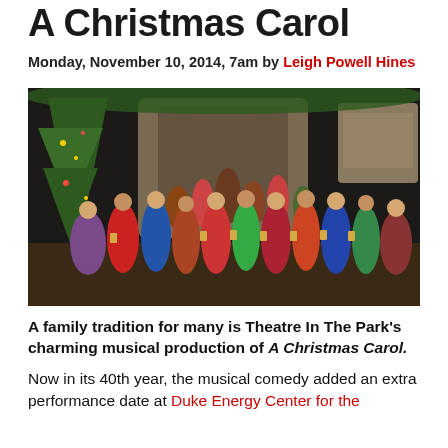A Christmas Carol
Monday, November 10, 2014, 7am by Leigh Powell Hines
[Figure (photo): Stage production photo of A Christmas Carol at Theatre In The Park, showing a large ensemble cast in Victorian period costumes with a decorated Christmas tree set piece and stone arch backdrop.]
A family tradition for many is Theatre In The Park's charming musical production of A Christmas Carol.
Now in its 40th year, the musical comedy added an extra performance date at Duke Energy Center for the